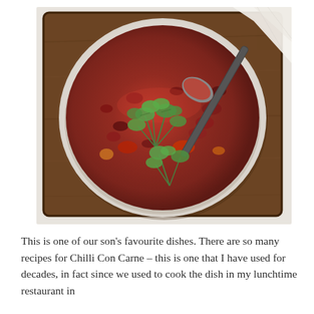[Figure (photo): Overhead view of a bowl of Chilli Con Carne with kidney beans and minced meat in a rich red sauce, garnished with fresh coriander leaves and a metal spoon, served in a white ceramic bowl on a dark wooden chopping board. A piece of flatbread is partially visible in the top right corner.]
This is one of our son's favourite dishes. There are so many recipes for Chilli Con Carne – this is one that I have used for decades, in fact since we used to cook the dish in my lunchtime restaurant in